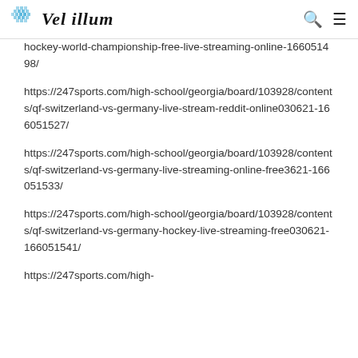Vel illum
hockey-world-championship-free-live-streaming-online-166051498/
https://247sports.com/high-school/georgia/board/103928/contents/qf-switzerland-vs-germany-live-stream-reddit-online030621-166051527/
https://247sports.com/high-school/georgia/board/103928/contents/qf-switzerland-vs-germany-live-streaming-online-free3621-166051533/
https://247sports.com/high-school/georgia/board/103928/contents/qf-switzerland-vs-germany-hockey-live-streaming-free030621-166051541/
https://247sports.com/high-